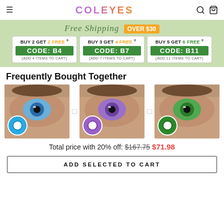COLEYES
[Figure (infographic): Promotional banner with Free Shipping over $30 and three coupon codes: BUY 2 GET 2 FREE CODE: B4 (ADD 4 ITEMS TO CART), BUY 3 GET 4 FREE CODE: B7 (ADD 7 ITEMS TO CART), BUY 5 GET 6 FREE CODE: B11 (ADD 11 ITEMS TO CART)]
Frequently Bought Together
[Figure (photo): Three eye product photos showing colored contact lenses: blue, purple, and green. Each has a lens badge overlay.]
Total price with 20% off: $167.75 $71.98
ADD SELECTED TO CART